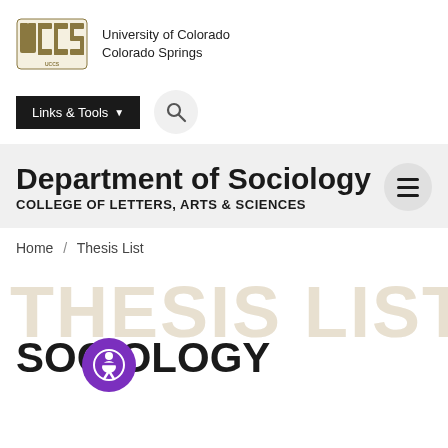[Figure (logo): UCCS logo with block letter text and University of Colorado Colorado Springs name]
[Figure (screenshot): Links & Tools dropdown button and search icon toolbar]
Department of Sociology
COLLEGE OF LETTERS, ARTS & SCIENCES
Home / Thesis List
SOCIOLOGY
[Figure (logo): PageAssist accessibility button]